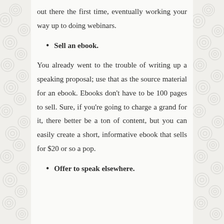out there the first time, eventually working your way up to doing webinars.
Sell an ebook.
You already went to the trouble of writing up a speaking proposal; use that as the source material for an ebook. Ebooks don't have to be 100 pages to sell. Sure, if you're going to charge a grand for it, there better be a ton of content, but you can easily create a short, informative ebook that sells for $20 or so a pop.
Offer to speak elsewhere.